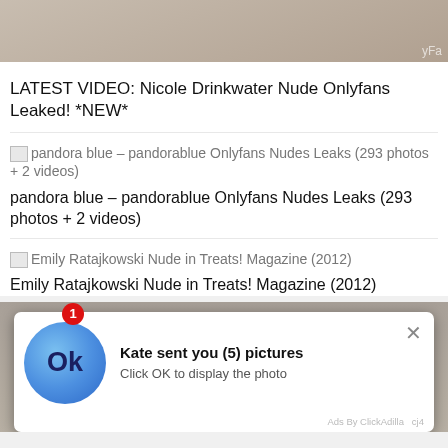[Figure (photo): Partial upper body photo, cropped, with watermark text 'yFa' visible at right edge]
LATEST VIDEO: Nicole Drinkwater Nude Onlyfans Leaked! *NEW*
[image] pandora blue – pandorablue Onlyfans Nudes Leaks (293 photos + 2 videos)
pandora blue – pandorablue Onlyfans Nudes Leaks (293 photos + 2 videos)
[image] Emily Ratajkowski Nude in Treats! Magazine (2012)
Emily Ratajkowski Nude in Treats! Magazine (2012)
[Figure (screenshot): Ad popup notification: 'Kate sent you (5) pictures — Click OK to display the photo' with blue circle Ok button icon. Badge showing '1'. Close X button. Footer: 'Ads By ClickAdilla cj4']